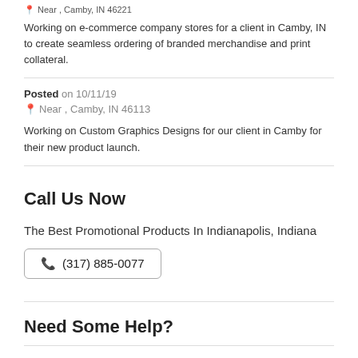Near , Camby, IN 46221
Working on e-commerce company stores for a client in Camby, IN to create seamless ordering of branded merchandise and print collateral.
Posted on 10/11/19
📍 Near , Camby, IN 46113
Working on Custom Graphics Designs for our client in Camby for their new product launch.
Call Us Now
The Best Promotional Products In Indianapolis, Indiana
(317) 885-0077
Need Some Help?